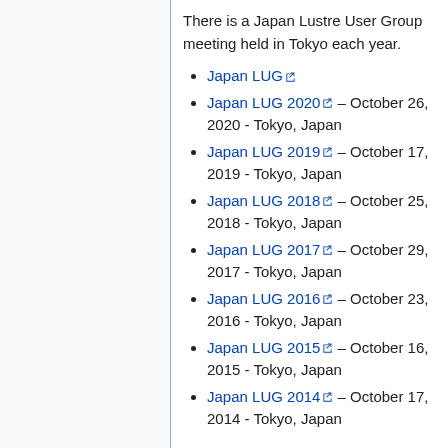There is a Japan Lustre User Group meeting held in Tokyo each year.
Japan LUG
Japan LUG 2020 – October 26, 2020 - Tokyo, Japan
Japan LUG 2019 – October 17, 2019 - Tokyo, Japan
Japan LUG 2018 – October 25, 2018 - Tokyo, Japan
Japan LUG 2017 – October 29, 2017 - Tokyo, Japan
Japan LUG 2016 – October 23, 2016 - Tokyo, Japan
Japan LUG 2015 – October 16, 2015 - Tokyo, Japan
Japan LUG 2014 – October 17, 2014 - Tokyo, Japan